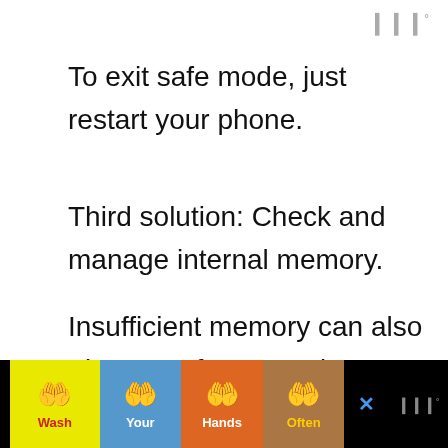W°
To exit safe mode, just restart your phone.
Third solution: Check and manage internal memory.
Insufficient memory can also trigger performance issues in mobile devices including frequent crashes, lags, freezes and infinite reboots. That said, make sure your device has ample of storage space
[Figure (infographic): Wash Your Hands Often public health advertisement banner with hand washing emoji icons on colored background sections (yellow, blue, orange, red). Close button and logo on right.]